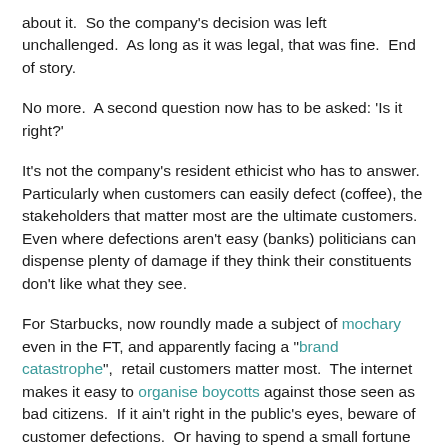about it.  So the company's decision was left unchallenged.  As long as it was legal, that was fine.  End of story.
No more.  A second question now has to be asked: 'Is it right?'
It's not the company's resident ethicist who has to answer.  Particularly when customers can easily defect (coffee), the stakeholders that matter most are the ultimate customers.  Even where defections aren't easy (banks) politicians can dispense plenty of damage if they think their constituents don't like what they see.
For Starbucks, now roundly made a subject of mochary even in the FT, and apparently facing a "brand catastrophe",  retail customers matter most.  The internet makes it easy to organise boycotts against those seen as bad citizens.  If it ain't right in the public's eyes, beware of customer defections.  Or having to spend a small fortune avoiding them.
Anthony Hilton quoted the senior tax partner at a Big Four